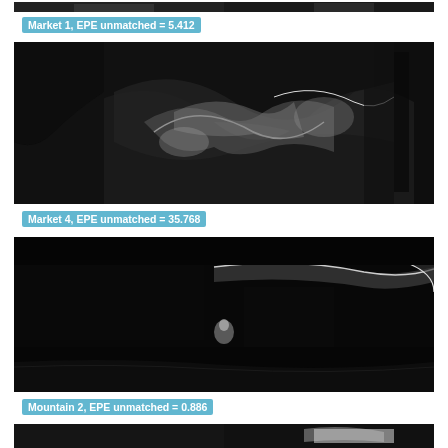[Figure (photo): Optical flow error map for Market 1 scene, grayscale, partially visible at top of page]
Market 1, EPE unmatched = 5.412
[Figure (photo): Optical flow error map for Market 4 scene, grayscale, showing complex distorted shapes with white outlines on dark background]
Market 4, EPE unmatched = 35.768
[Figure (photo): Optical flow error map for Mountain 2 scene, mostly dark with white edge outlines visible on horizon and foreground]
Mountain 2, EPE unmatched = 0.886
[Figure (photo): Optical flow error map partially visible at bottom of page]